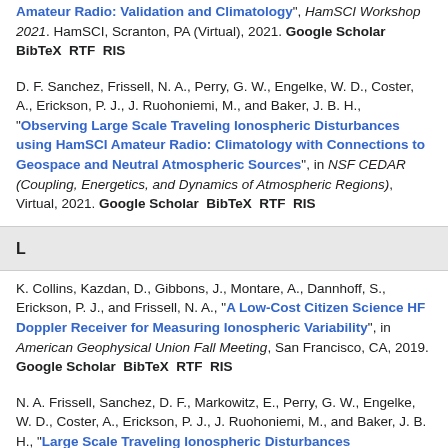Amateur Radio: Validation and Climatology", HamSCI Workshop 2021. HamSCI, Scranton, PA (Virtual), 2021. Google Scholar BibTeX RTF RIS
D. F. Sanchez, Frissell, N. A., Perry, G. W., Engelke, W. D., Coster, A., Erickson, P. J., J. Ruohoniemi, M., and Baker, J. B. H., "Observing Large Scale Traveling Ionospheric Disturbances using HamSCI Amateur Radio: Climatology with Connections to Geospace and Neutral Atmospheric Sources", in NSF CEDAR (Coupling, Energetics, and Dynamics of Atmospheric Regions), Virtual, 2021. Google Scholar BibTeX RTF RIS
L
K. Collins, Kazdan, D., Gibbons, J., Montare, A., Dannhoff, S., Erickson, P. J., and Frissell, N. A., "A Low-Cost Citizen Science HF Doppler Receiver for Measuring Ionospheric Variability", in American Geophysical Union Fall Meeting, San Francisco, CA, 2019. Google Scholar BibTeX RTF RIS
N. A. Frissell, Sanchez, D. F., Markowitz, E., Perry, G. W., Engelke, W. D., Coster, A., Erickson, P. J., J. Ruohoniemi, M., and Baker, J. B. H., "Large Scale Traveling Ionospheric Disturbances...